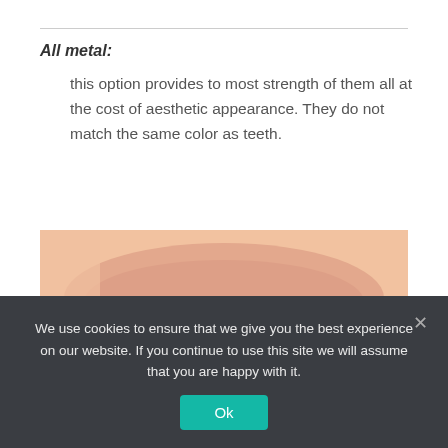All metal:
this option provides to most strength of them all at the cost of aesthetic appearance. They do not match the same color as teeth.
[Figure (photo): Close-up photo of a person smiling showing white teeth with a dental mirror held next to the teeth]
We use cookies to ensure that we give you the best experience on our website. If you continue to use this site we will assume that you are happy with it.